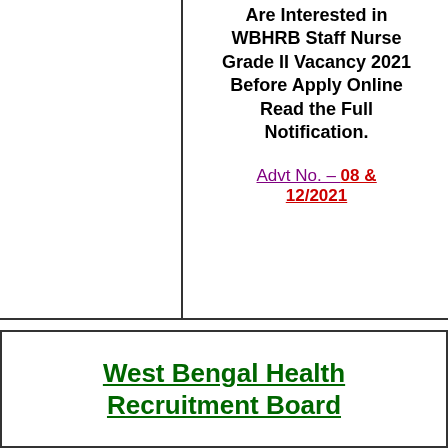Are Interested in WBHRB Staff Nurse Grade II Vacancy 2021 Before Apply Online Read the Full Notification.
Advt No. – 08 & 12/2021
West Bengal Health Recruitment Board